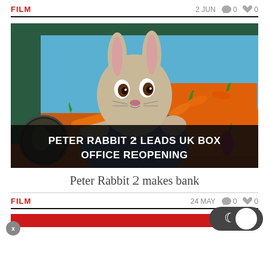FILM | 2 JUN | 0 comments | 0 likes
[Figure (photo): Peter Rabbit 2 movie promotional image: animated rabbit in blue jacket holding a carrot, surrounded by carrots, viewed from inside a vehicle window]
PETER RABBIT 2 LEADS UK BOX OFFICE REOPENING
Peter Rabbit 2 makes bank
FILM | 24 MAY | 0 comments | 0 likes
[Figure (other): Red banner bar at bottom of page]